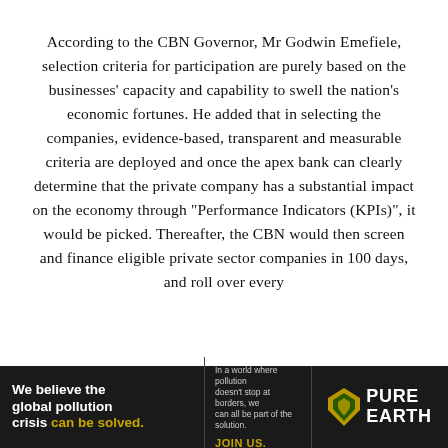According to the CBN Governor, Mr Godwin Emefiele, selection criteria for participation are purely based on the businesses' capacity and capability to swell the nation's economic fortunes. He added that in selecting the companies, evidence-based, transparent and measurable criteria are deployed and once the apex bank can clearly determine that the private company has a substantial impact on the economy through “Performance Indicators (KPIs)”, it would be picked. Thereafter, the CBN would then screen and finance eligible private sector companies in 100 days, and roll over every
[Figure (infographic): Advertisement banner for Pure Earth. Left side black background with bold white and yellow text: 'We believe the global pollution crisis can be solved.' Middle section with smaller white text: 'In a world where pollution doesn't stop at borders, we can all be part of the solution.' and 'JOIN US.' in yellow. Right side shows Pure Earth logo with a diamond/chevron shape in orange/yellow and dark green text 'PURE EARTH'.]